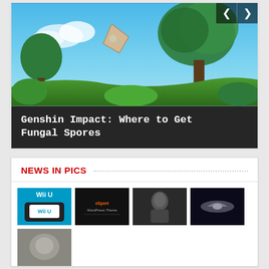[Figure (screenshot): Genshin Impact game screenshot showing a fantasy landscape with blue sky, trees, and a floating object]
Genshin Impact: Where to Get Fungal Spores
NEWS IN PICS
[Figure (screenshot): Wii U console and controller with blue header]
[Figure (screenshot): eSport WordPress Theme dark banner]
[Figure (screenshot): Dark armored warrior figure]
[Figure (screenshot): Spaceship or spacecraft in space]
[Figure (photo): Partially visible image at bottom, appears to be an animal or blurry photo]